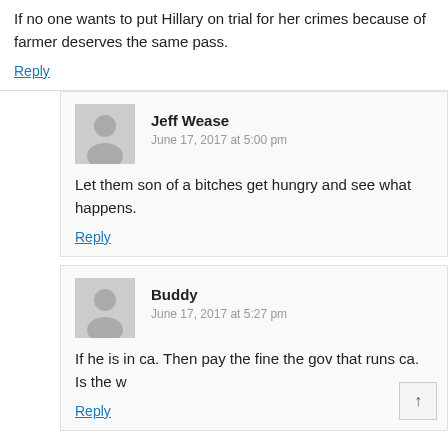If no one wants to put Hillary on trial for her crimes because of farmer deserves the same pass.
Reply
Jeff Wease
June 17, 2017 at 5:00 pm
Let them son of a bitches get hungry and see what happens.
Reply
Buddy
June 17, 2017 at 5:27 pm
If he is in ca. Then pay the fine the gov that runs ca. Is the w
Reply